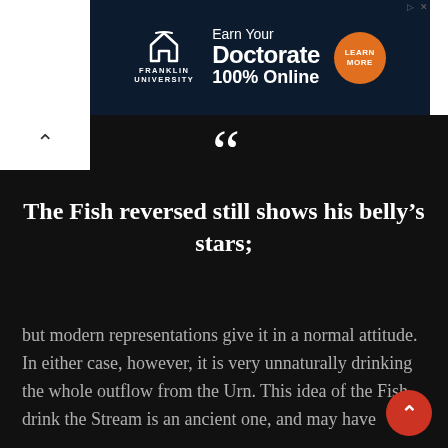[Figure (screenshot): Franklin University advertisement banner: 'Earn Your Doctorate 100% Online' with a Learn More orange circular button on dark navy background]
““
The Fish reversed still shows his belly’s stars;
but modern representations give it in a normal attitude. In either case, however, it is very unnaturally drinking the whole outflow from the Urn. This idea of the Fish drink the Stream is an ancient one, and may have